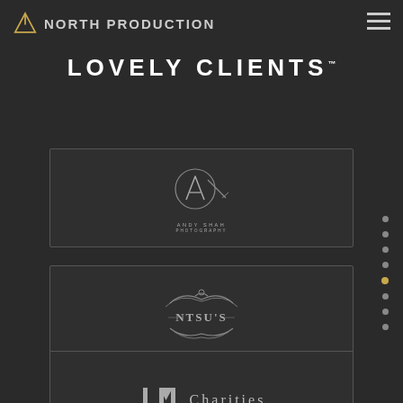North Production
LOVELY CLIENTS
[Figure (logo): Andy Shah Photography logo — circular monogram with stylized A and diagonal swash, text ANDY SHAH PHOTOGRAPHY below]
[Figure (logo): NTSU'S logo — ornate badge style with wings/flourishes and text NTSU'S in decorative lettering]
[Figure (logo): LM Charities logo — stylized LM lettermark beside the text Charities in serif font]